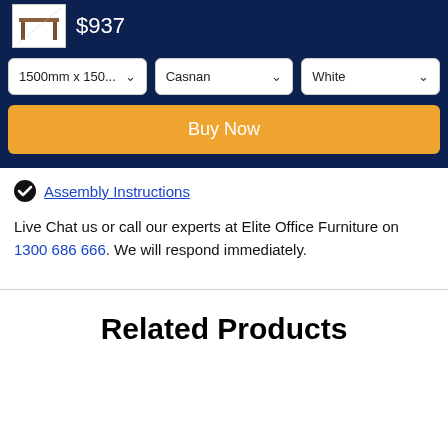$937
1500mm x 150...
Casnan
White
Buy Now
Assembly Instructions
Live Chat us or call our experts at Elite Office Furniture on 1300 686 666. We will respond immediately.
Related Products